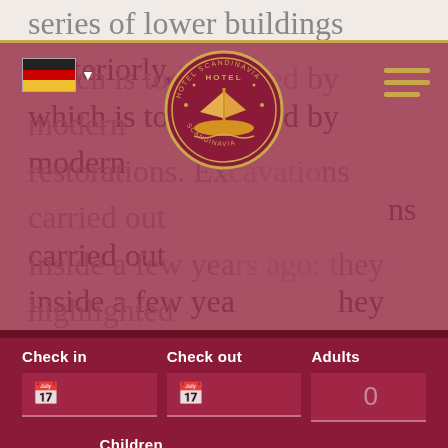series of lower buildings posteriorly, which is today raised by modern restorations. Excavations carried out inside a few years ago: they highlighted the original nature of the Romanesque
[Figure (screenshot): Hotel Scandinavia mobile app booking widget. Shows German flag with dropdown in top-left, hotel logo (circular seal with ship) in center, hamburger menu in gold top-right. Dark red/maroon booking panel with Check in, Check out (calendar icons), Adults (0), Children (0) number fields, and gold SEARCH button.]
thirteenth century, in fact, organized